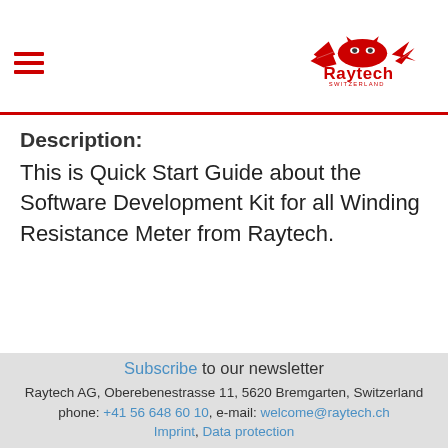[Figure (logo): Raytech Switzerland logo — red eagle/devil with wings, red text 'Raytech' and 'SWITZERLAND' below]
Description:
This is Quick Start Guide about the Software Development Kit for all Winding Resistance Meter from Raytech.
Subscribe to our newsletter
Raytech AG, Oberebenestrasse 11, 5620 Bremgarten, Switzerland
phone: +41 56 648 60 10, e-mail: welcome@raytech.ch
Imprint, Data protection